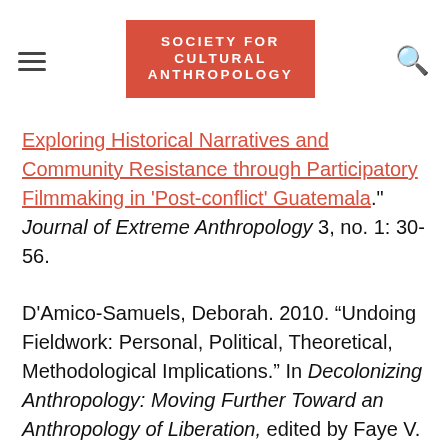SOCIETY FOR CULTURAL ANTHROPOLOGY
Exploring Historical Narratives and Community Resistance through Participatory Filmmaking in 'Post-conflict' Guatemala." Journal of Extreme Anthropology 3, no. 1: 30-56.
D'Amico-Samuels, Deborah. 2010. “Undoing Fieldwork: Personal, Political, Theoretical, Methodological Implications.” In Decolonizing Anthropology: Moving Further Toward an Anthropology of Liberation, edited by Faye V. Harrison, 68-87. Arlington, VA: Association of Black Anthropologists, American Anthropological Association.